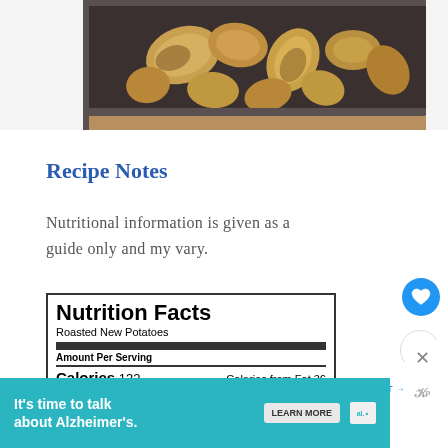[Figure (photo): Roasted new potatoes on a dark baking tray, golden brown, shot from above on a wooden surface]
Recipe Notes
Nutritional information is given as a guide only and my vary.
| Nutrition Facts |  |
| --- | --- |
| Roasted New Potatoes |  |
| Amount Per Serving |  |
| Calories 132 | Calories from Fat 36 |
| % Daily Value* |  |
[Figure (infographic): Advertisement banner: It's time to talk about Alzheimer's. Learn More button. Alzheimer's Association logo.]